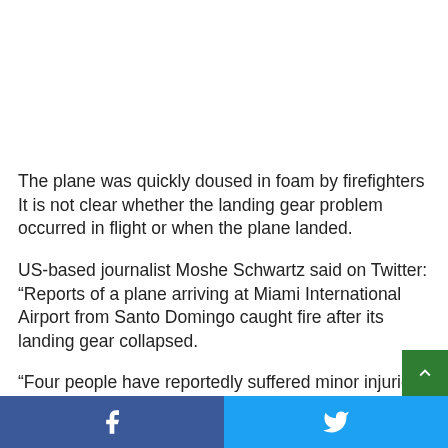The plane was quickly doused in foam by firefighters It is not clear whether the landing gear problem occurred in flight or when the plane landed.
US-based journalist Moshe Schwartz said on Twitter: “Reports of a plane arriving at Miami International Airport from Santo Domingo caught fire after its landing gear collapsed.
“Four people have reportedly suffered minor injuries after the landing gear of Red Air’s civilian plane collapsed and a fire
Facebook | Twitter share bar